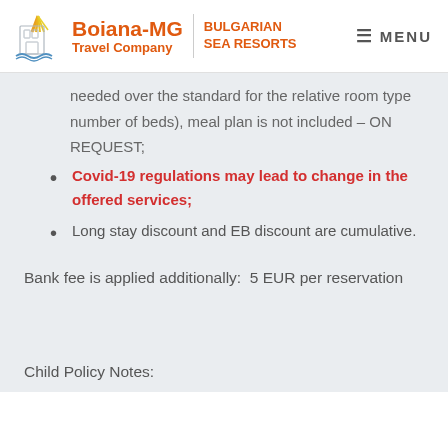[Figure (logo): Boiana-MG Bulgarian Travel Company Sea Resorts logo with sun/building icon]
needed over the standard for the relative room type number of beds), meal plan is not included – ON REQUEST;
Covid-19 regulations may lead to change in the offered services;
Long stay discount and EB discount are cumulative.
Bank fee is applied additionally:  5 EUR per reservation
Child Policy Notes: